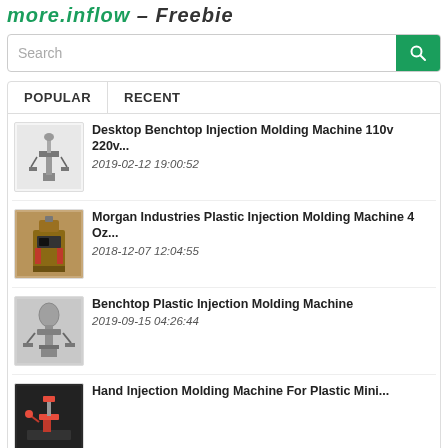more.inflow – Freebie
Search
POPULAR
RECENT
[Figure (photo): Small desktop benchtop injection molding machine on white background]
Desktop Benchtop Injection Molding Machine 110v 220v...
2019-02-12 19:00:52
[Figure (photo): Morgan Industries plastic injection molding machine, brown/black hopper unit]
Morgan Industries Plastic Injection Molding Machine 4 Oz...
2018-12-07 12:04:55
[Figure (photo): Benchtop plastic injection molding machine, silver/grey]
Benchtop Plastic Injection Molding Machine
2019-09-15 04:26:44
[Figure (photo): Hand injection molding machine for plastic, red/black color]
Hand Injection Molding Machine For Plastic Mini...